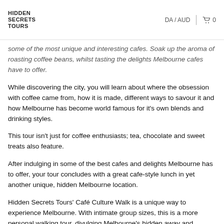HIDDEN SECRETS TOURS | DA / AUD | 0
some of the most unique and interesting cafes. Soak up the aroma of roasting coffee beans, whilst tasting the delights Melbourne cafes have to offer.
While discovering the city, you will learn about where the obsession with coffee came from, how it is made, different ways to savour it and how Melbourne has become world famous for it's own blends and drinking styles.
This tour isn't just for coffee enthusiasts; tea, chocolate and sweet treats also feature.
After indulging in some of the best cafes and delights Melbourne has to offer, your tour concludes with a great cafe-style lunch in yet another unique, hidden Melbourne location.
Hidden Secrets Tours' Café Culture Walk is a unique way to experience Melbourne. With intimate group sizes, this is a more personal walking tour, divulging Melbourne's hidden away and treasured gems.